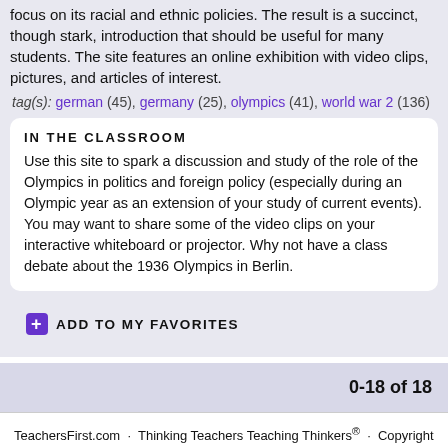focus on its racial and ethnic policies. The result is a succinct, though stark, introduction that should be useful for many students. The site features an online exhibition with video clips, pictures, and articles of interest.
tag(s): german (45), germany (25), olympics (41), world war 2 (136)
IN THE CLASSROOM
Use this site to spark a discussion and study of the role of the Olympics in politics and foreign policy (especially during an Olympic year as an extension of your study of current events). You may want to share some of the video clips on your interactive whiteboard or projector. Why not have a class debate about the 1936 Olympics in Berlin.
ADD TO MY FAVORITES
0-18 of 18
TeachersFirst.com · Thinking Teachers Teaching Thinkers® · Copyright © 1998-2022 by The Source for Learning, Inc. All rights reserved. Home | About | Terms of Use | Contact Us | Site Map | Join TeachersFirst (free!) | Email-only signup